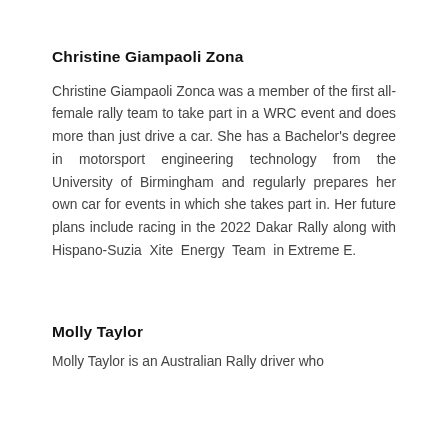Christine Giampaoli Zona
Christine Giampaoli Zonca was a member of the first all-female rally team to take part in a WRC event and does more than just drive a car. She has a Bachelor's degree in motorsport engineering technology from the University of Birmingham and regularly prepares her own car for events in which she takes part in. Her future plans include racing in the 2022 Dakar Rally along with Hispano-Suzia Xite Energy Team in Extreme E.
Molly Taylor
Molly Taylor is an Australian Rally driver who